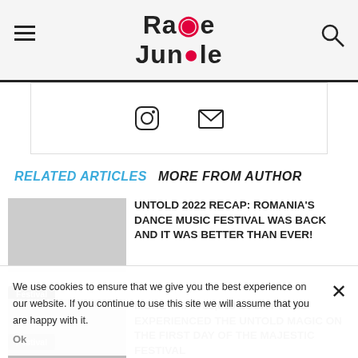Rave Jungle
[Figure (other): Social media icons: Instagram and email]
RELATED ARTICLES   MORE FROM AUTHOR
UNTOLD 2022 RECAP: ROMANIA'S DANCE MUSIC FESTIVAL WAS BACK AND IT WAS BETTER THAN EVER!
Festival
MORE THAN 85,000 LUCKY FANS EXPERIENCED THE UNTOLD MAGIC ON THE FIRST DAY OF THE MAJESTIC FESTIVAL
Festival
We use cookies to ensure that we give you the best experience on our website. If you continue to use this site we will assume that you are happy with it.
Ok